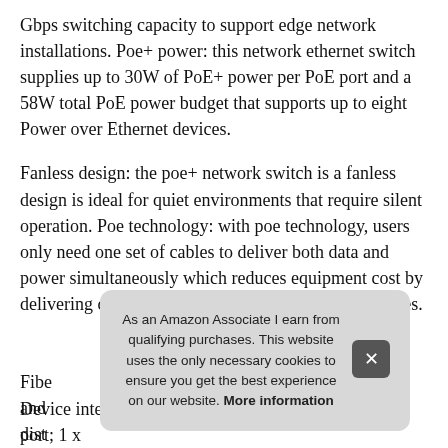Gbps switching capacity to support edge network installations. Poe+ power: this network ethernet switch supplies up to 30W of PoE+ power per PoE port and a 58W total PoE power budget that supports up to eight Power over Ethernet devices.
Fanless design: the poe+ network switch is a fanless design is ideal for quiet environments that require silent operation. Poe technology: with poe technology, users only need one set of cables to deliver both data and power simultaneously which reduces equipment cost by delivering data and power over existing network cables.
More information #ad
Fibe and dist
As an Amazon Associate I earn from qualifying purchases. This website uses the only necessary cookies to ensure you get the best experience on our website. More information
Device interface: 8 x gigabit poe+ ports; 1 x Gigabit port; 1 x